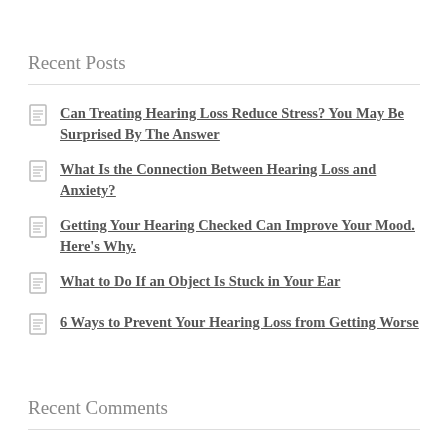Recent Posts
Can Treating Hearing Loss Reduce Stress? You May Be Surprised By The Answer
What Is the Connection Between Hearing Loss and Anxiety?
Getting Your Hearing Checked Can Improve Your Mood. Here's Why.
What to Do If an Object Is Stuck in Your Ear
6 Ways to Prevent Your Hearing Loss from Getting Worse
Recent Comments